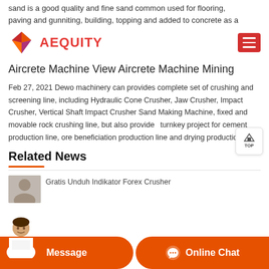sand is a good quality and fine sand common used for flooring, paving and gunniting, building, topping and added to concrete as a
[Figure (logo): AEQUITY logo with geometric diamond shape in orange/red/purple and red company name text]
Aircrete Machine View Aircrete Machine Mining
Feb 27, 2021 Dewo machinery can provides complete set of crushing and screening line, including Hydraulic Cone Crusher, Jaw Crusher, Impact Crusher, Vertical Shaft Impact Crusher Sand Making Machine, fixed and movable rock crushing line, but also provides turnkey project for cement production line, ore beneficiation production line and drying production line.
Related News
Gratis Unduh Indikator Forex Crusher